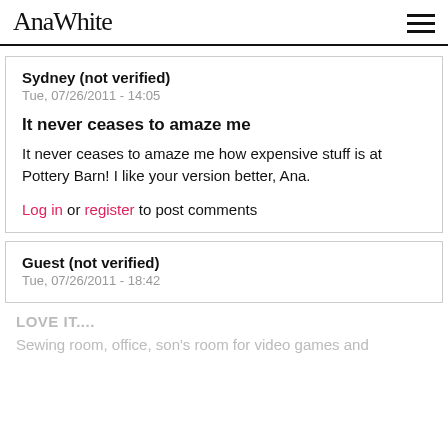AnaWhite
Sydney (not verified)
Tue, 07/26/2011 - 14:05
It never ceases to amaze me
It never ceases to amaze me how expensive stuff is at Pottery Barn! I like your version better, Ana.
Log in or register to post comments
Guest (not verified)
Tue, 07/26/2011 - 18:42
LOVE IT....
Sewing room, office, son's room for video games and